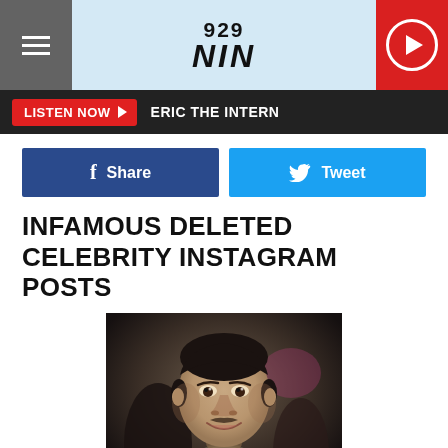929 NIN
LISTEN NOW  ERIC THE INTERN
Share  Tweet
INFAMOUS DELETED CELEBRITY INSTAGRAM POSTS
[Figure (photo): A man with dark hair and a slight smile, wearing a textured jacket, photographed at an event against a dark background.]